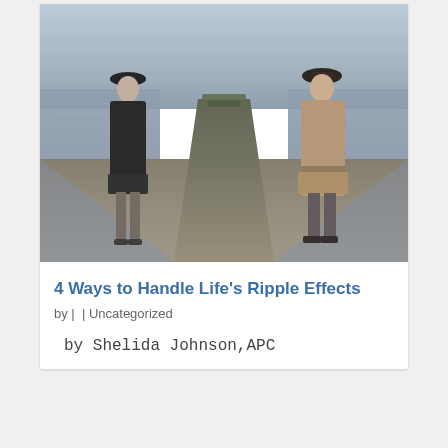[Figure (photo): Two people standing on opposite ends of a rocky stone pier stretching into the sea. A woman in a black coat and hat stands on the left; a man in a tan trench coat and bowler hat stands on the right. The mood is grey and melancholic.]
4 Ways to Handle Life’s Ripple Effects
by | | Uncategorized
by Shelida Johnson,APC